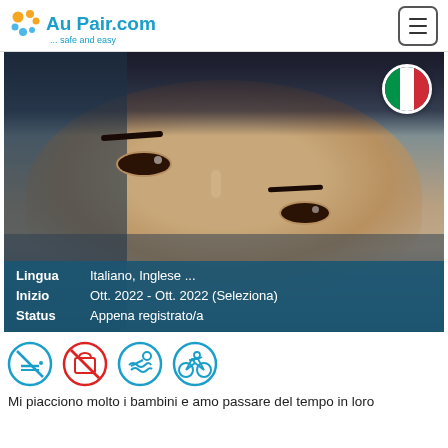AuPair.com ... safe and easy
[Figure (photo): Close-up portrait photo of a young person with an Italian flag circle badge in the top right corner. Information bar at the bottom shows: Lingua: Italiano, Inglese ..., Inizio: Ott. 2022 - Ott. 2022 (Seleziona), Status: Appena registrato/a]
[Figure (infographic): Row of four circular icons: no-smoking (blue border), no-bag/no-work (red border with diagonal slash), swimming (blue border), cycling (blue border)]
Mi piacciono molto i bambini e amo passare del tempo in loro